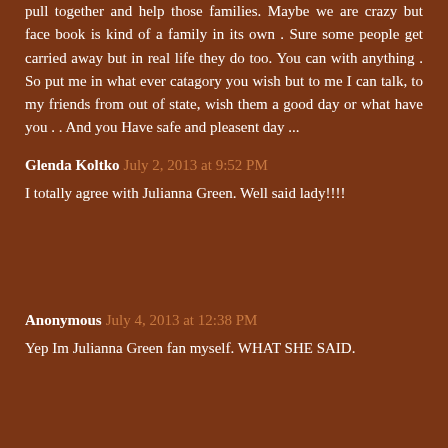pull together and help those families. Maybe we are crazy but face book is kind of a family in its own . Sure some people get carried away but in real life they do too. You can with anything . So put me in what ever catagory you wish but to me I can talk, to my friends from out of state, wish them a good day or what have you . . And you Have safe and pleasent day ...
Glenda Koltko  July 2, 2013 at 9:52 PM
I totally agree with Julianna Green. Well said lady!!!!
Anonymous  July 4, 2013 at 12:38 PM
Yep Im Julianna Green fan myself. WHAT SHE SAID.